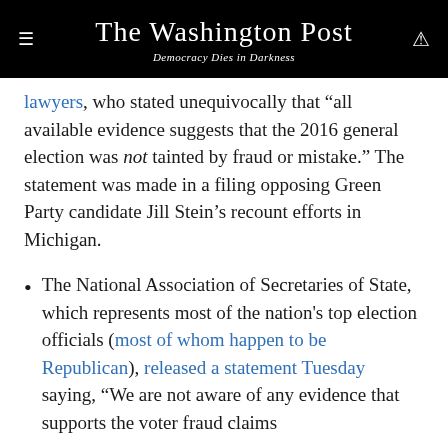The Washington Post
Democracy Dies in Darkness
lawyers, who stated unequivocally that “all available evidence suggests that the 2016 general election was not tainted by fraud or mistake.” The statement was made in a filing opposing Green Party candidate Jill Stein’s recount efforts in Michigan.
The National Association of Secretaries of State, which represents most of the nation's top election officials (most of whom happen to be Republican), released a statement Tuesday saying, “We are not aware of any evidence that supports the voter fraud claims